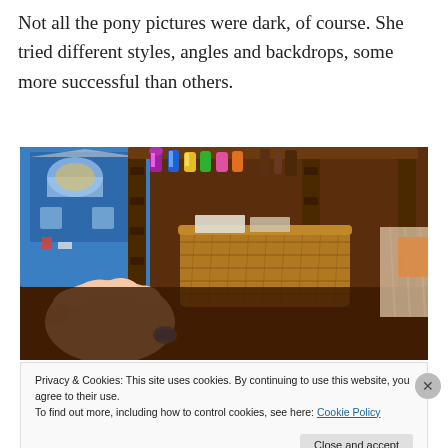Not all the pony pictures were dark, of course. She tried different styles, angles and backdrops, some more successful than others.
[Figure (photo): A photo of a child's hand holding a small toy in the foreground, with a wicker basket under a wooden table and toy ponies/figures on a shelf in the background. A blue dollhouse is visible on the left.]
Privacy & Cookies: This site uses cookies. By continuing to use this website, you agree to their use.
To find out more, including how to control cookies, see here: Cookie Policy